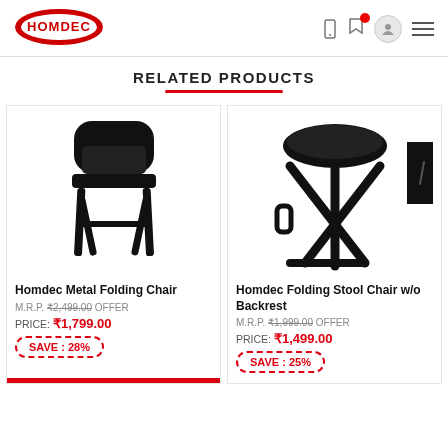[Figure (logo): Homdec logo - white oval with red background and 'HOMDEC' text]
RELATED PRODUCTS
[Figure (photo): Black metal folding chair product image]
Homdec Metal Folding Chair
M.R.P. ₹2,499.00  OFFER PRICE: ₹1,799.00
SAVE : 28%
[Figure (photo): Black folding stool chair without backrest product image]
Homdec Folding Stool Chair w/o Backrest
M.R.P. ₹1,999.00  OFFER PRICE: ₹1,499.00
SAVE : 25%